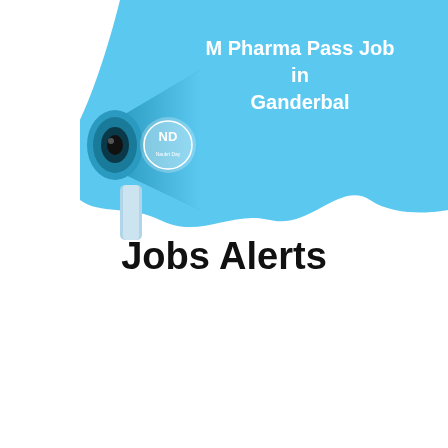[Figure (illustration): A blue megaphone/loudspeaker illustration with 'ND' logo on it, placed in the top-left area, with a large light blue wavy blob shape behind it extending to the top-right corner. The blue blob contains white bold text reading 'M Pharma Pass Job in Ganderbal'.]
Jobs Alerts